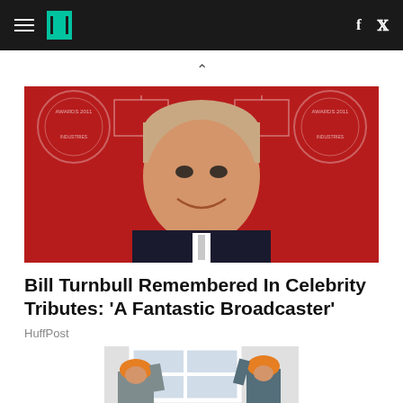HuffPost navigation header with hamburger menu, logo, Facebook and Twitter icons
[Figure (photo): Bill Turnbull smiling at an awards event with red backdrop showing AWARDS 2011 logos]
Bill Turnbull Remembered In Celebrity Tributes: 'A Fantastic Broadcaster'
HuffPost
[Figure (photo): Two workers in orange hard hats and grey overalls carrying a white window frame]